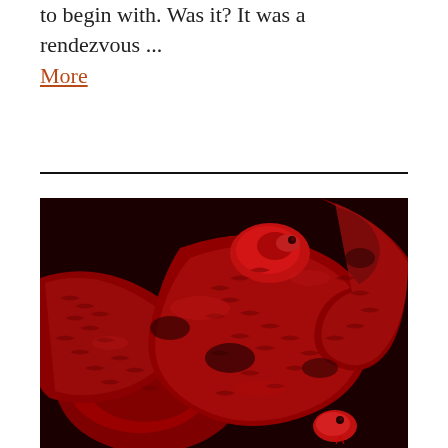to begin with. Was it? It was a rendezvous ... More
[Figure (photo): Close-up photograph of multiple coiled red/crimson snakes with visible scales and heads, tightly intertwined against a dark background.]